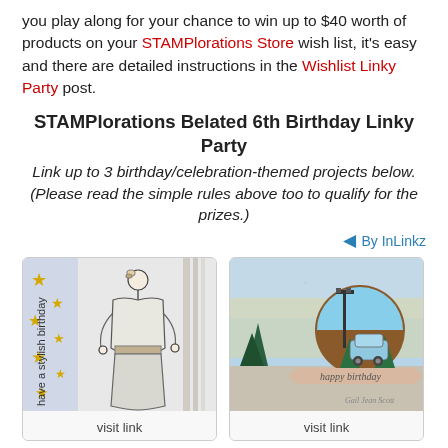you play along for your chance to win up to $40 worth of products on your STAMPlorations Store wish list, it's easy and there are detailed instructions in the Wishlist Linky Party post.
STAMPlorations Belated 6th Birthday Linky Party
Link up to 3 birthday/celebration-themed projects below. (Please read the simple rules above too to qualify for the prizes.)
By InLinkz
[Figure (photo): Birthday card with sketch of a woman in a stylish dress, text 'have a stylish birthday' on the left, gold stars on background. Caption: visit link]
visit link
[Figure (photo): Birthday card with watercolor background, lamp post and car in circular vignette, trees, banner with 'happy birthday', signature 'Gail Jean Scott'. Caption: visit link]
visit link